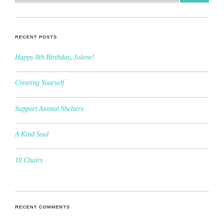RECENT POSTS
Happy 8th Birthday, Jolene!
Creating Yourself
Support Animal Shelters
A Kind Soul
10 Chairs
RECENT COMMENTS